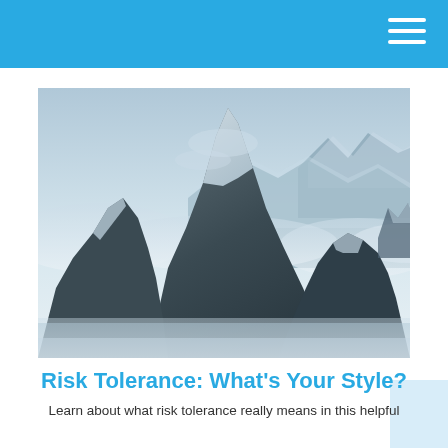[Figure (photo): Aerial photograph of jagged snow-covered mountain peaks rising above clouds, with dark rocky ridgelines and glacial ice fields, in a cool blue-grey color palette.]
Risk Tolerance: What's Your Style?
Learn about what risk tolerance really means in this helpful